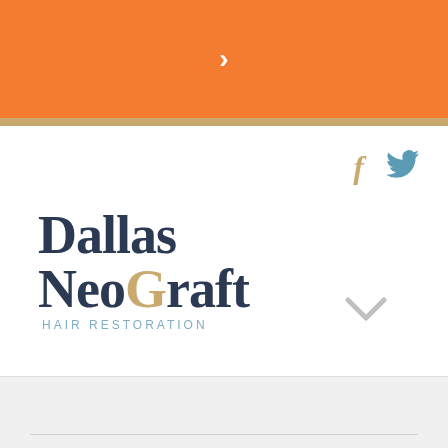[Figure (screenshot): Orange navigation bar with white right-chevron arrow in center]
[Figure (logo): Dallas NeoGraft Hair Restoration logo in dark navy serif font with gold and blue accent colors]
[Figure (infographic): Social media icons: Facebook (f) in gold and Twitter bird in blue]
[Figure (infographic): Gray downward chevron arrow indicating expandable menu]
[Figure (screenshot): Light gray content area below the header with a horizontal rule at the bottom]